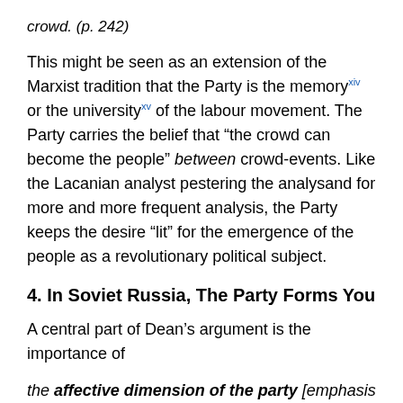crowd. (p. 242)
This might be seen as an extension of the Marxist tradition that the Party is the memoryxiv or the universityxv of the labour movement. The Party carries the belief that “the crowd can become the people” between crowd-events. Like the Lacanian analyst pestering the analysand for more and more frequent analysis, the Party keeps the desire “lit” for the emergence of the people as a revolutionary political subject.
4. In Soviet Russia, The Party Forms You
A central part of Dean’s argument is the importance of
the affective dimension of the party [emphasis added, which] knots together unconscious processes across a differential field to enable a communist political